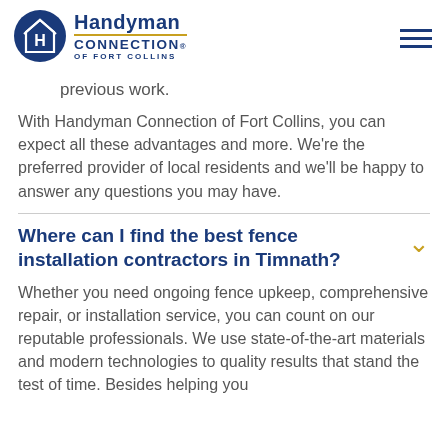[Figure (logo): Handyman Connection of Fort Collins logo — circular blue badge with house icon on left, company name text on right]
previous work.
With Handyman Connection of Fort Collins, you can expect all these advantages and more. We're the preferred provider of local residents and we'll be happy to answer any questions you may have.
Where can I find the best fence installation contractors in Timnath?
Whether you need ongoing fence upkeep, comprehensive repair, or installation service, you can count on our reputable professionals. We use state-of-the-art materials and modern technologies to quality results that stand the test of time. Besides helping you